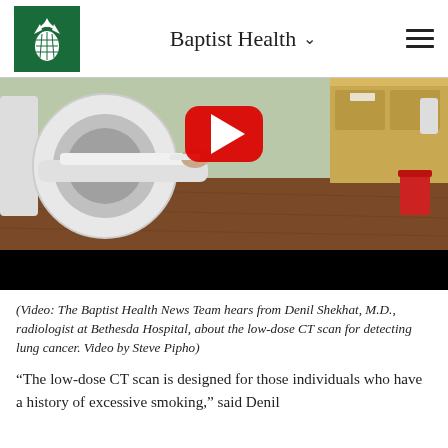Baptist Health
[Figure (screenshot): Video thumbnail showing a CT scanner machine in a medical room with a patient on the table, wood-look flooring, and medical cabinetry. A YouTube play button (red rounded rectangle with white triangle) is overlaid in the center.]
(Video: The Baptist Health News Team hears from Denil Shekhat, M.D., radiologist at Bethesda Hospital, about the low-dose CT scan for detecting lung cancer. Video by Steve Pipho)
“The low-dose CT scan is designed for those individuals who have a history of excessive smoking,” said Denil